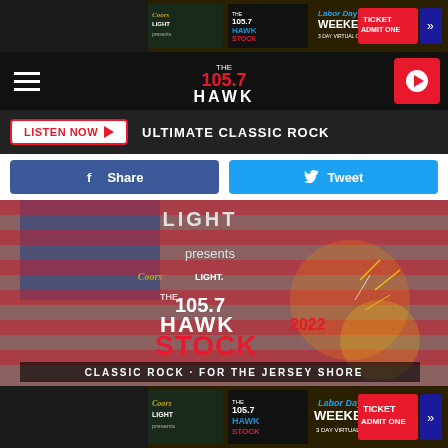[Figure (screenshot): Top advertisement banner for 105.7 The Hawk Hawkstock 2022 Labor Day Weekend 3 Day Virtual Concert, presented by Coors Light, with Ticket Admit One button]
[Figure (screenshot): Navigation bar with hamburger menu, 105.7 The Hawk logo, and red play button]
[Figure (screenshot): Listen Now button and ULTIMATE CLASSIC ROCK label on dark bar]
[Figure (screenshot): Facebook Share and Twitter Tweet social sharing buttons]
[Figure (photo): Hawkstock 2022 event image showing Coors Light presents 105.7 The Hawk Stock 2022 - Classic Rock for the Jersey Shore, with American flag background and fireworks]
[Figure (screenshot): Bottom advertisement banner for 105.7 The Hawk Hawkstock 2022 Labor Day Weekend 3 Day Virtual Concert, presented by Coors Light, with Ticket Admit One button]